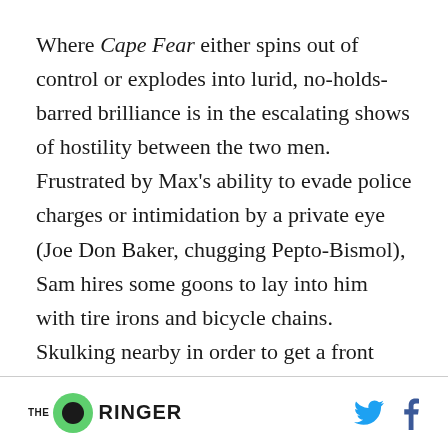Where Cape Fear either spins out of control or explodes into lurid, no-holds-barred brilliance is in the escalating shows of hostility between the two men. Frustrated by Max's ability to evade police charges or intimidation by a private eye (Joe Don Baker, chugging Pepto-Bismol), Sam hires some goons to lay into him with tire irons and bicycle chains. Skulking nearby in order to get a front row seat to the beating, he ends up cowering behind a dumpster after Max overwhelms the thugs. He's a beta male reduced to
THE RINGER